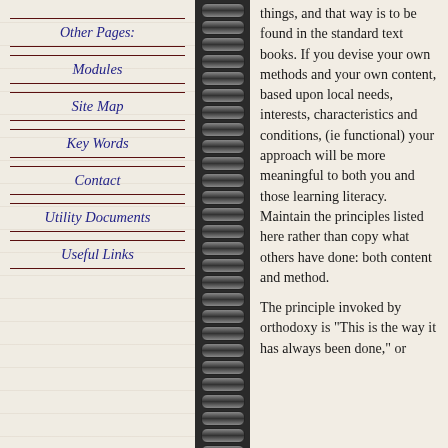Other Pages:
Modules
Site Map
Key Words
Contact
Utility Documents
Useful Links
things, and that way is to be found in the standard text books. If you devise your own methods and your own content, based upon local needs, interests, characteristics and conditions, (ie functional) your approach will be more meaningful to both you and those learning literacy. Maintain the principles listed here rather than copy what others have done: both content and method.
The principle invoked by orthodoxy is "This is the way it has always been done," or